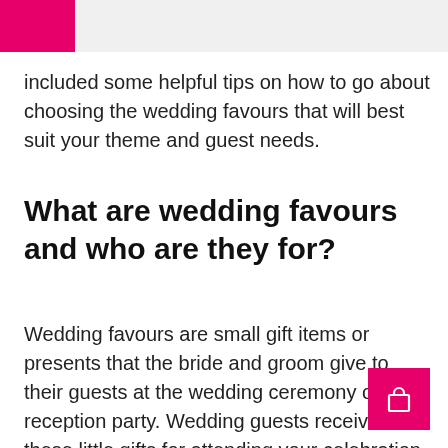included some helpful tips on how to go about choosing the wedding favours that will best suit your theme and guest needs.
What are wedding favours and who are they for?
Wedding favours are small gift items or presents that the bride and groom give to their guests at the wedding ceremony or reception party. Wedding guests receive these little gifts for attending your celebration. They are souv… that invitees can take them home to remember